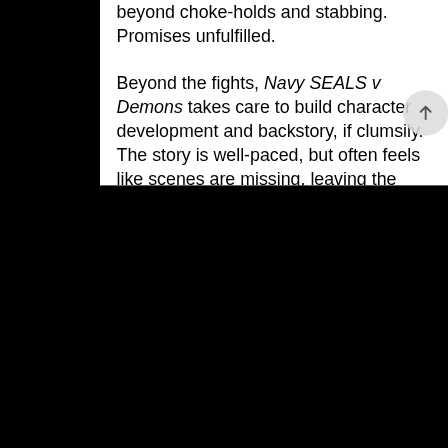beyond choke-holds and stabbing. Promises unfulfilled.
Beyond the fights, Navy SEALS v Demons takes care to build character development and backstory, if clumsily. The story is well-paced, but often feels like scenes are missing, leaving the audience on its own to figure out what happened in hindsight. No one expects complexity from SEALS fighting demons, but every scene should be essential to the movie. Here, there is an entire government team working from an office that could be entirely cut from the film. Scenes' reasons for existing, does not exist, while imperative moments need to be fleshed out.
Overall, Navy SEALS v Demons has one major flaw, in that it takes itself too seriously. Part of the charm of low-budget flicks with titles like this is their ability to glance at us and wink. Instead, the movie fancies itself an episode of AMC's The Walking Dead, instead